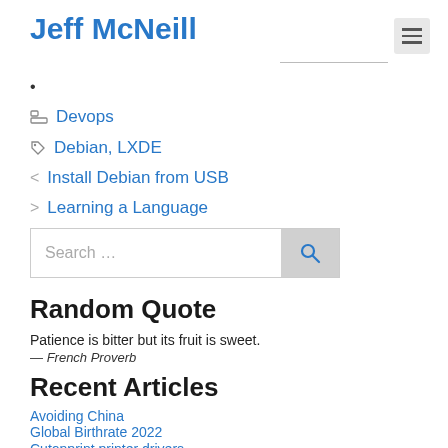Jeff McNeill
•
Devops
Debian, LXDE
< Install Debian from USB
> Learning a Language
Search …
Random Quote
Patience is bitter but its fruit is sweet.
— French Proverb
Recent Articles
Avoiding China
Global Birthrate 2022
Cutonprint printer drivers